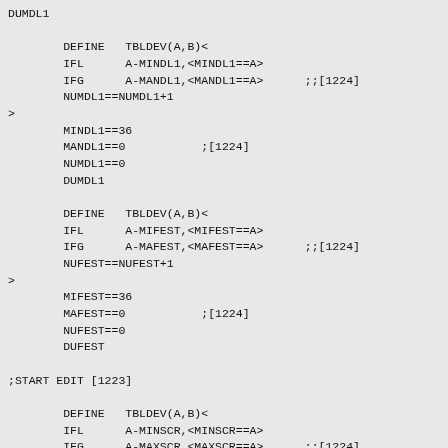DUMDL1

        DEFINE   TBLDEV(A,B)<
        IFL      A-MINDL1,<MINDL1==A>
        IFG      A-MANDL1,<MANDL1==A>      ;;[1224]
        NUMDL1==NUMDL1+1
>
        MINDL1==36
        MANDL1==0           ;[1224]
        NUMDL1==0
        DUMDL1

        DEFINE   TBLDEV(A,B)<
        IFL      A-MIFEST,<MIFEST==A>
        IFG      A-MAFEST,<MAFEST==A>      ;;[1224]
        NUFEST==NUFEST+1
>
        MIFEST==36
        MAFEST==0           ;[1224]
        NUFEST==0
        DUFEST

;START EDIT [1223]

        DEFINE   TBLDEV(A,B)<
        IFL      A-MINSCR,<MINSCR==A>
        IFG      A-MAXSCR,<MAXSCR==A>      ;;[1224]
        NUMSCR==NUMSCR+1
>
        MINSCR==36
        MAXSCR==0           ;[1224]